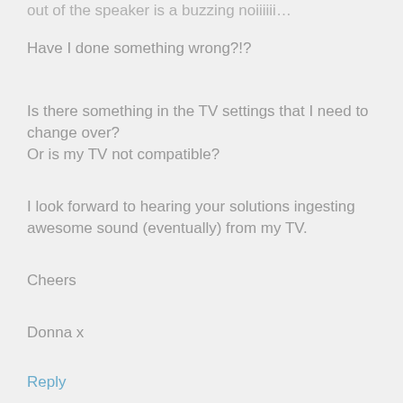out of the speaker is a buzzing noiiiiii…
Have I done something wrong?!?
Is there something in the TV settings that I need to change over?
Or is my TV not compatible?
I look forward to hearing your solutions ingesting awesome sound (eventually) from my TV.
Cheers
Donna x
Reply